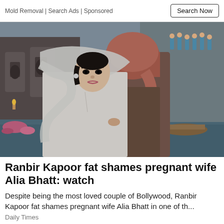Mold Removal | Search Ads | Sponsored   Search Now
[Figure (photo): A woman in a white dupatta/veil looking over her shoulder towards camera, and a man in a red/maroon turban with his back to camera, in an ornate temple/palace setting with water and flowers in the background. Appears to be a Bollywood film still.]
Ranbir Kapoor fat shames pregnant wife Alia Bhatt: watch
Despite being the most loved couple of Bollywood, Ranbir Kapoor fat shames pregnant wife Alia Bhatt in one of th...
Daily Times